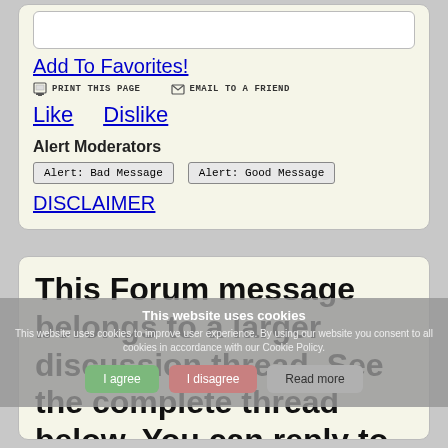Add To Favorites!
PRINT THIS PAGE    EMAIL TO A FRIEND
Like    Dislike
Alert Moderators
Alert: Bad Message    Alert: Good Message
DISCLAIMER
This Forum message belongs to a larger discussion thread. See the complete thread below. You can reply to this message!
This website uses cookies
This website uses cookies to improve user experience. By using our website you consent to all cookies in accordance with our Cookie Policy.
I agree    I disagree    Read more